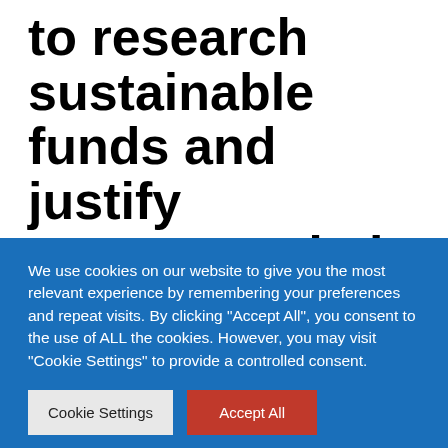to research sustainable funds and justify recommendations – IFA Magazine
By
DEC 16, 2021 2:35 PM
We use cookies on our website to give you the most relevant experience by remembering your preferences and repeat visits. By clicking "Accept All", you consent to the use of ALL the cookies. However, you may visit "Cookie Settings" to provide a controlled consent.
Cookie Settings
Accept All